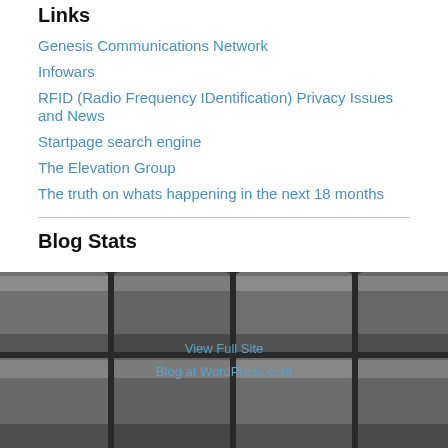Links
Genesis Communications Network
Infowars
RFID (Radio Frequency IDentification) Privacy Issues and News
Startpage search engine
The Elevation Group
The truth on whats happening in the next 18 months
Blog Stats
1,371,929 hits
[Figure (photo): Rows of silver metal bars or ingots stacked tightly, photographed in dark tones]
View Full Site
Blog at WordPress.com